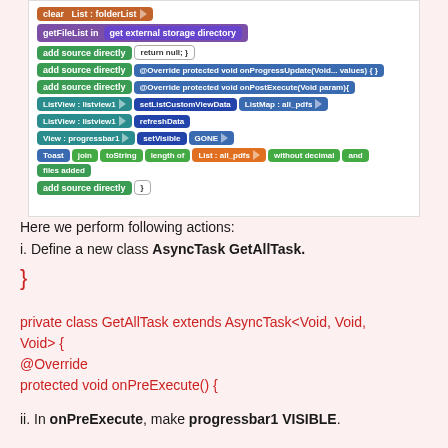[Figure (screenshot): MIT App Inventor block programming screenshot showing a series of colored blocks: clear List:folderList, getFileList in get external storage directory, add source directly return null;}, add source directly @Override protected void onProgressUpdate(Void... values){}, add source directly @Override protected void onPostExecute(Void param){, ListView:listview1 setListCustomViewData ListMap:all_pdfs, ListView:listview1 refreshData, View:progressbar1 setVisible GONE, Toast join toString length of List:all_pdfs without decimal and files added, add source directly }]
Here we perform following actions:
i. Define a new class AsyncTask GetAllTask.
}
private class GetAllTask extends AsyncTask<Void, Void, Void> {
@Override
protected void onPreExecute() {
ii. In onPreExecute, make progressbar1 VISIBLE.